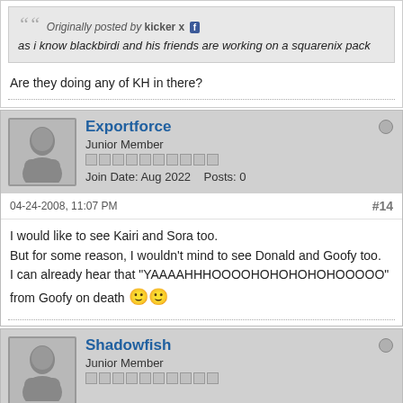Originally posted by kicker x
as i know blackbirdi and his friends are working on a squarenix pack
Are they doing any of KH in there?
Exportforce
Junior Member
Join Date: Aug 2022   Posts: 0
04-24-2008, 11:07 PM
#14
I would like to see Kairi and Sora too.
But for some reason, I wouldn't mind to see Donald and Goofy too.
I can already hear that "YAAAAHHHOOOOHOHOHOHOHOOOOO"
from Goofy on death
Shadowfish
Junior Member